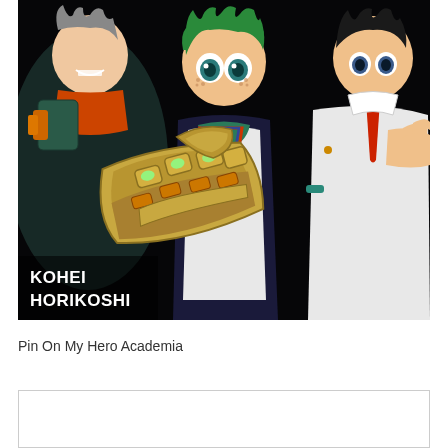[Figure (illustration): Manga cover art from My Hero Academia by Kohei Horikoshi. Shows three anime characters: a green-haired character (Deku/Izuku Midoriya) in the center wearing a costume with a mechanical gauntlet fist thrust forward, a character on the left with spiky hair and mechanical gear, and a white-suited character on the right with a red tie. The author name 'KOHEI HORIKOSHI' is displayed in bold white text at the bottom left of the image on a dark/black background.]
Pin On My Hero Academia